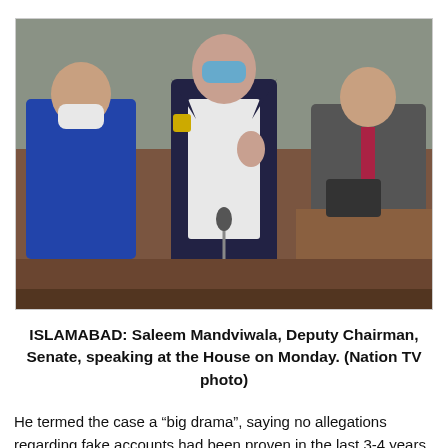[Figure (photo): A man wearing a blue face mask and dark blazer speaking at a podium in what appears to be a parliamentary chamber, with other seated members visible in the background.]
ISLAMABAD: Saleem Mandviwala, Deputy Chairman, Senate, speaking at the House on Monday. (Nation TV photo)
He termed the case a “big drama”, saying no allegations regarding fake accounts had been proven in the last 3-4 years.
Mandviwalla claimed that the NAB Chairman Javed Iqbal was being “blackmailed” through a woman named Tayyaba whose